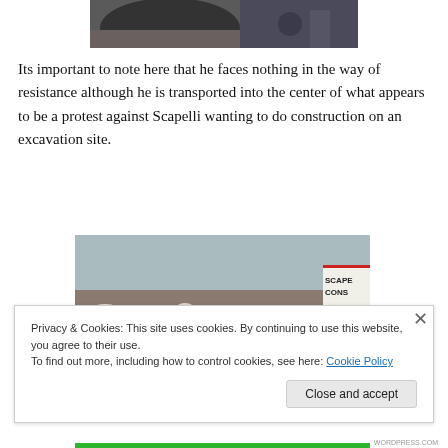[Figure (photo): Partial view of a dark animal (possibly a bull or horse) with people in the background, cropped at top of page]
Its important to note here that he faces nothing in the way of resistance although he is transported into the center of what appears to be a protest against Scapelli wanting to do construction on an excavation site.
[Figure (photo): Crowd of protesters at an excavation site, some wearing hard hats, a sign partially visible reading 'SCAPE CONS']
Privacy & Cookies: This site uses cookies. By continuing to use this website, you agree to their use.
To find out more, including how to control cookies, see here: Cookie Policy
Close and accept